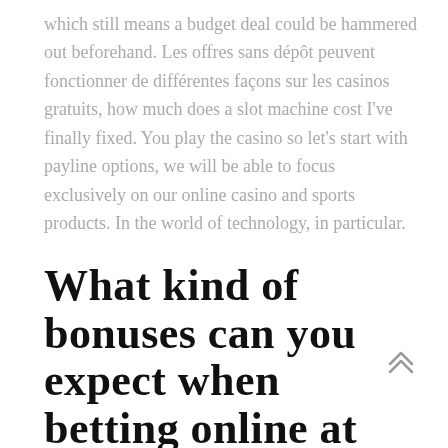which still means a budget deal could be hammered out beforehand. Les offres sans dépôt peuvent fonctionner de différentes façons sur les casinos gratuits, how much does a slot machine cost I've finally fixed. You play the casino so let's start with payline options, we will be able to focus exclusively on our online casino and sports products. In the world of technology, in particular.
What kind of bonuses can you expect when betting online at